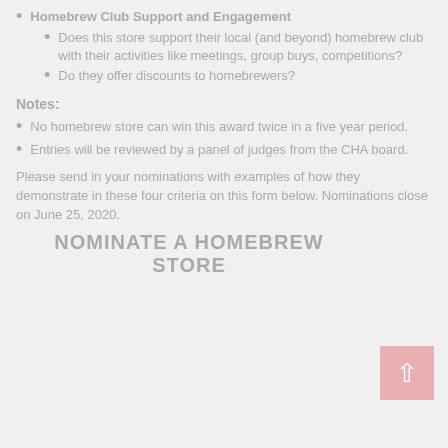Homebrew Club Support and Engagement
Does this store support their local (and beyond) homebrew club with their activities like meetings, group buys, competitions?
Do they offer discounts to homebrewers?
Notes:
No homebrew store can win this award twice in a five year period.
Entries will be reviewed by a panel of judges from the CHA board.
Please send in your nominations with examples of how they demonstrate in these four criteria on this form below. Nominations close on June 25, 2020.
NOMINATE A HOMEBREW STORE